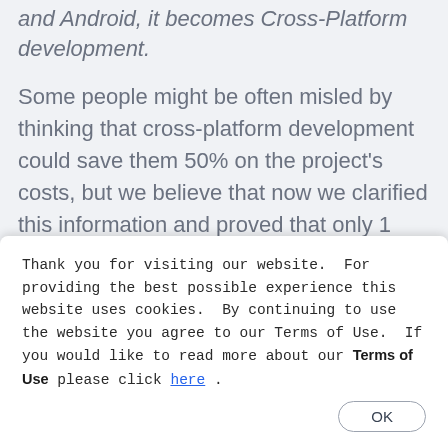and Android, it becomes Cross-Platform development.
Some people might be often misled by thinking that cross-platform development could save them 50% on the project's costs, but we believe that now we clarified this information and proved that only 1 level of the 3 described above will be influenced.
UI/UX Design and Development
Thank you for visiting our website. For providing the best possible experience this website uses cookies. By continuing to use the website you agree to our Terms of Use. If you would like to read more about our Terms of Use please click here .